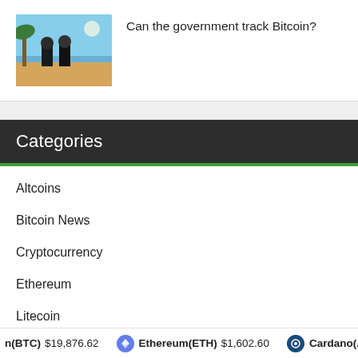[Figure (illustration): Thumbnail image showing two people on a beach with palm trees, illustrated in an animated style]
Can the government track Bitcoin?
Categories
Altcoins
Bitcoin News
Cryptocurrency
Ethereum
Litecoin
n(BTC) $19,876.62  Ethereum(ETH) $1,602.60  Cardano(ADA